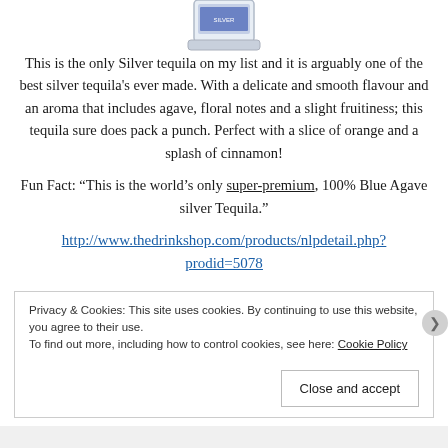[Figure (photo): Bottom portion of a tequila bottle with blue label, shown cropped at top of page]
This is the only Silver tequila on my list and it is arguably one of the best silver tequila's ever made. With a delicate and smooth flavour and an aroma that includes agave, floral notes and a slight fruitiness; this tequila sure does pack a punch. Perfect with a slice of orange and a splash of cinnamon!
Fun Fact: “This is the world’s only super-premium, 100% Blue Agave silver Tequila.”
http://www.thedrinkshop.com/products/nlpdetail.php?prodid=5078
Privacy & Cookies: This site uses cookies. By continuing to use this website, you agree to their use.
To find out more, including how to control cookies, see here: Cookie Policy